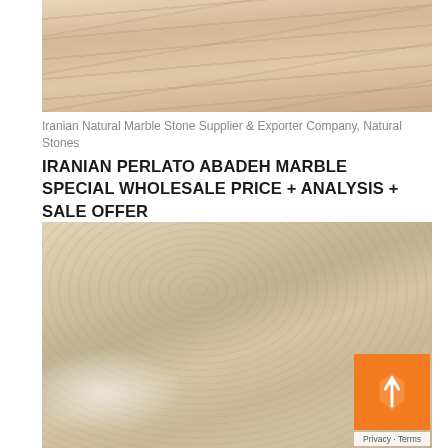[Figure (photo): Close-up photo of Iranian Perlato Abadeh marble stone surface showing light beige/cream color with subtle wavy veining patterns]
Iranian Natural Marble Stone Supplier & Exporter Company, Natural Stones
IRANIAN PERLATO ABADEH MARBLE SPECIAL WHOLESALE PRICE + ANALYSIS + SALE OFFER
[Figure (photo): Close-up photo of Perlato Abadeh marble showing creamy white surface with darker veining and texture, with a bright light reflection in lower left corner]